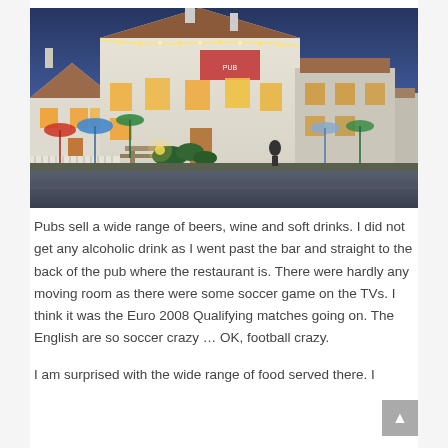[Figure (photo): Exterior of a traditional English pub at dusk, white-painted building with illuminated windows, string lights, outdoor seating, colorful umbrellas, and a road in the foreground under a blue evening sky.]
Pubs sell a wide range of beers, wine and soft drinks. I did not get any alcoholic drink as I went past the bar and straight to the back of the pub where the restaurant is. There were hardly any moving room as there were some soccer game on the TVs. I think it was the Euro 2008 Qualifying matches going on. The English are so soccer crazy … OK, football crazy.
I am surprised with the wide range of food served there. I